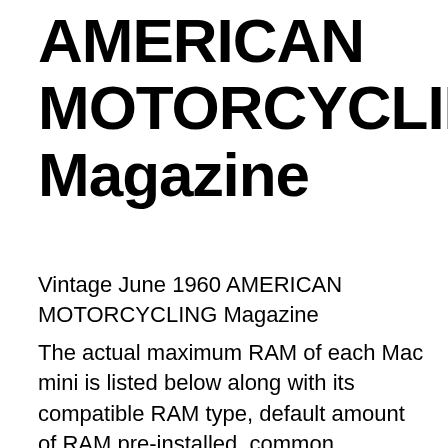AMERICAN MOTORCYCLING Magazine
Vintage June 1960 AMERICAN MOTORCYCLING Magazine
The actual maximum RAM of each Mac mini is listed below along with its compatible RAM type, default amount of RAM pre-installed, common identifiers suitable to identify a Mac mini in order to determine its RAM capacity, and more.. If you are not sure which Mac mini you have, and the Model Identifier and EMC Number below are not Find out